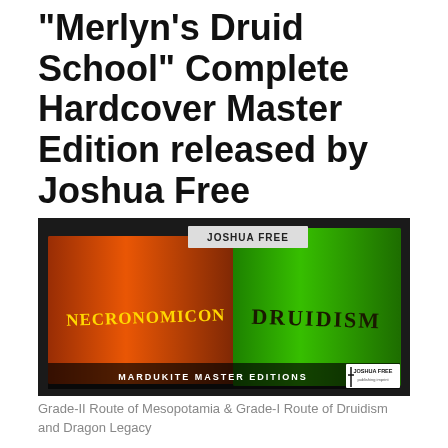"Merlyn's Druid School" Complete Hardcover Master Edition released by Joshua Free
[Figure (photo): Photo of two large hardcover books side by side on a dark surface. Left book has an orange/red spine reading 'NECRONOMICON' and right book has a green spine reading 'DRUIDISM'. Text at the bottom center reads 'MARDUKITE MASTER EDITIONS' and bottom right shows 'JOSHUA FREE publishing imprint' logo. A card reading 'JOSHUA FREE' is visible at the top.]
Grade-II Route of Mesopotamia & Grade-I Route of Druidism and Dragon Legacy
The world is ever changing, ever evolving, ever moving forward in time marked by incident, memory and fragmentation. For all times, in all places, and throughout